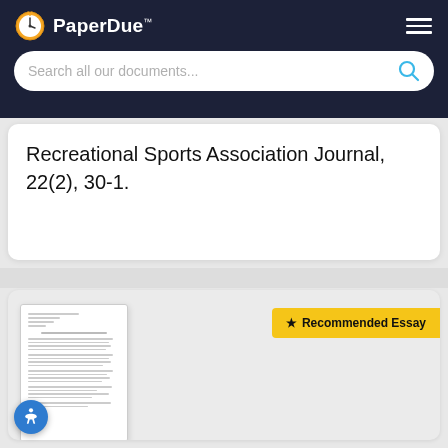PaperDue™
Recreational Sports Association Journal, 22(2), 30-1.
[Figure (screenshot): Document thumbnail preview of an essay with small text lines]
★ Recommended Essay